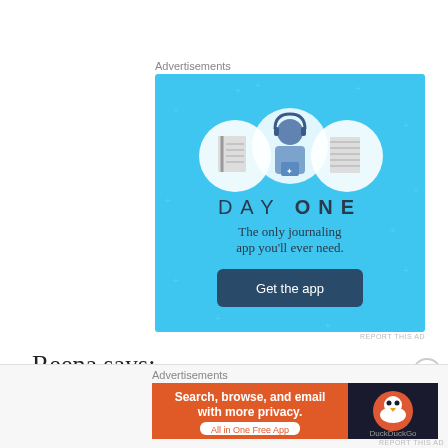Advertisements
[Figure (illustration): DayOne app advertisement on a light blue background. Shows three circular icons: a notebook, a person wearing headphones, and a lined notepad. Text reads 'DAY ONE - The only journaling app you'll ever need.' with a dark button 'Get the app'.]
REPORT THIS AD
Reena says:
Advertisements
[Figure (illustration): DuckDuckGo advertisement banner. Orange background with white text: 'Search, browse, and email with more privacy. All in One Free App'. Right side shows DuckDuckGo duck logo on dark background.]
REPORT THIS AD